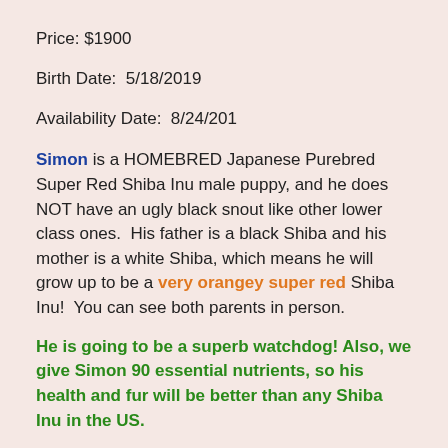Price: $1900
Birth Date:  5/18/2019
Availability Date:  8/24/201
Simon is a HOMEBRED Japanese Purebred Super Red Shiba Inu male puppy, and he does NOT have an ugly black snout like other lower class ones.  His father is a black Shiba and his mother is a white Shiba, which means he will grow up to be a very orangey super red Shiba Inu!  You can see both parents in person.
He is going to be a superb watchdog! Also, we give Simon 90 essential nutrients, so his health and fur will be better than any Shiba Inu in the US.
He should have a big round apple face when he